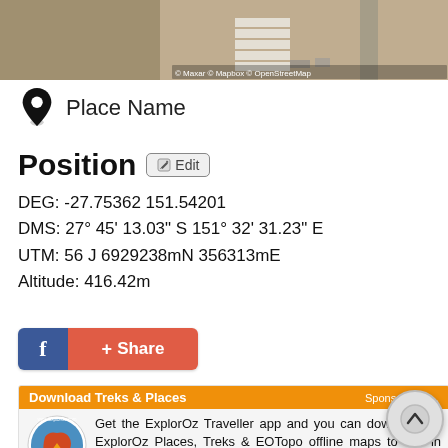[Figure (map): Aerial satellite map view showing buildings, roads and terrain. Attribution: © Maxar © Mapbox © OpenStreetMap]
Place Name
Position
DEG: -27.75362 151.54201
DMS: 27° 45' 13.03" S 151° 32' 31.23" E
UTM: 56 J 6929238mN 356313mE
Altitude: 416.42m
[Figure (other): Facebook Share button with blue Facebook logo section and red + Share section]
[Figure (other): Advertisement banner: Download Treks & Places / Sponsor Message. ExplorOz logo. Text: Get the ExplorOrz Traveller app and you can download all ExplorOz Places, Treks & EOTopo offline maps to use in your smartphone, tablet, iPad, or laptop - CLICK HERE]